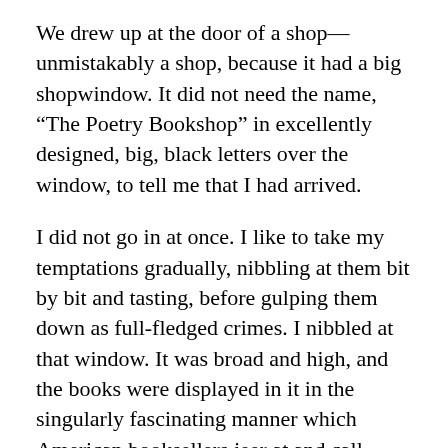We drew up at the door of a shop—unmistakably a shop, because it had a big shopwindow. It did not need the name, “The Poetry Bookshop” in excellently designed, big, black letters over the window, to tell me that I had arrived.
I did not go in at once. I like to take my temptations gradually, nibbling at them bit by bit and tasting, before gulping them down as full-fledged crimes. I nibbled at that window. It was broad and high, and the books were displayed in it in the singularly fascinating manner which American booksellers jeer at and call “English window dressing.” All these books were poetry, or about poetry; that is, of course, all the ones that were not plays. There were long strips of ballads hanging down, like 18th century broadsides, each one topped by a crude woodcut in glaring reds, and blues,